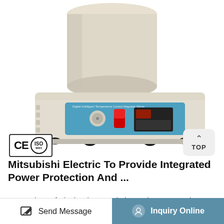[Figure (photo): Laboratory magnetic stirrer / heating mantle with a cylindrical beige vessel on top, beige base unit with blue front panel featuring a rotary knob, red toggle switch, and digital display controller. Device has rubber feet and CE/ISO certification badges visible.]
Mitsubishi Electric To Provide Integrated Power Protection And ...
Comparison of Single-Phase and Three-Phase UPS. The Single-phase UPS system is of rating 10 KVA